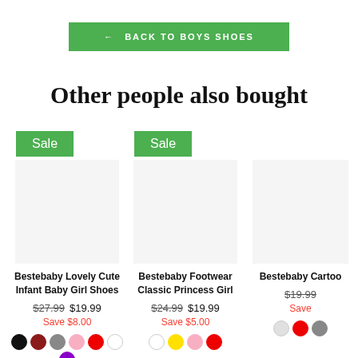← BACK TO BOYS SHOES
Other people also bought
Sale
Bestebaby Lovely Cute Infant Baby Girl Shoes
$27.99 $19.99 Save $8.00
Sale
Bestebaby Footwear Classic Princess Girl
$24.99 $19.99 Save $5.00
Bestebaby Cartoon
$19.99 Save